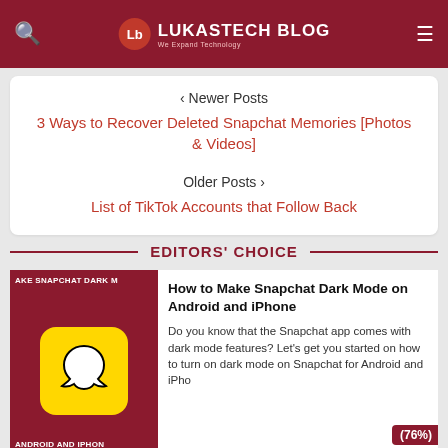LUKASTECH BLOG — We Expand Technology
‹ Newer Posts
3 Ways to Recover Deleted Snapchat Memories [Photos & Videos]
Older Posts ›
List of TikTok Accounts that Follow Back
EDITORS' CHOICE
[Figure (photo): Snapchat dark mode thumbnail showing Snapchat ghost icon on yellow background with red banner text 'MAKE SNAPCHAT DARK M' and 'ANDROID AND IPHON']
How to Make Snapchat Dark Mode on Android and iPhone
Do you know that the Snapchat app comes with dark mode features? Let's get you started on how to turn on dark mode on Snapchat for Android and iPho...
[Figure (screenshot): TikTok dark mode settings screenshot showing Appearance screen with Light and Dark mode options]
How To Enable Dark Mode For TikTok on Android & iOS
Enabling dark mode on our device helps us reduce eye strain and increase our watch time, here's a complete guide on how to turn on dark mode for TikT ...